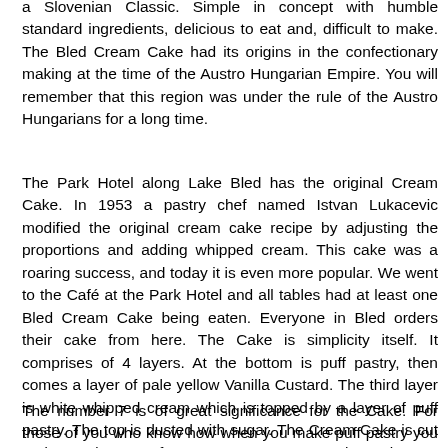a Slovenian Classic. Simple in concept with humble standard ingredients, delicious to eat and, difficult to make. The Bled Cream Cake had its origins in the confectionary making at the time of the Austro Hungarian Empire. You will remember that this region was under the rule of the Austro Hungarians for a long time.
The Park Hotel along Lake Bled has the original Cream Cake. In 1953 a pastry chef named Istvan Lukacevic modified the original cream cake recipe by adjusting the proportions and adding whipped cream. This cake was a roaring success, and today it is even more popular. We went to the Café at the Park Hotel and all tables had at least one Bled Cream Cake being eaten. Everyone in Bled orders their cake from here. The Cake is simplicity itself. It comprises of 4 layers. At the bottom is puff pastry, then comes a layer of pale yellow Vanilla Custard. The third layer is white whipped cream which is topped by a layer of puff pastry. The top is dusted with sugar. The Cream Cake is cut and served as a perfect square or more correctly a cube.
The number 7 is of great significance for the Cake. For those of you who know how when you make puff pastry you have what are known as “folds”. In this case the puff pastry